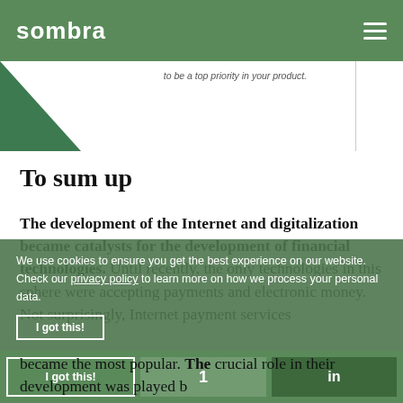sombra
to be a top priority in your product.
[Figure (illustration): Green triangle/arrow shape decorative element on left side]
To sum up
The development of the Internet and digitalization became catalysts for the development of financial technologies. Until recently, the only technologies in this sphere were accepting payments and electronic money. Not surprisingly, Internet payment services became the most popular. The crucial role in their development was played b...
We use cookies to ensure you get the best experience on our website. Check our privacy policy to learn more on how we process your personal data.
I got this!